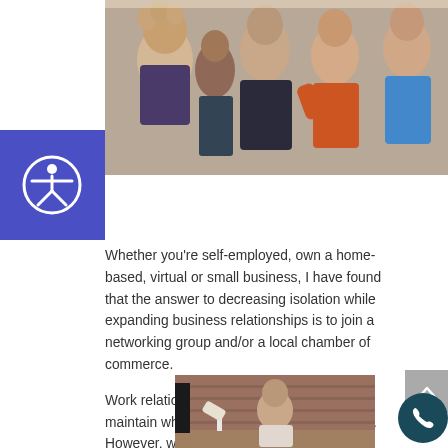[Figure (photo): Group of people networking at a social/business event, upper bodies visible, warm tones]
[Figure (logo): Accessibility icon - circular person figure in white on purple/indigo square background]
Whether you're self-employed, own a home-based, virtual or small business, I have found that the answer to decreasing isolation while expanding business relationships is to join a networking group and/or a local chamber of commerce.
Work relationships are easy to make and maintain when you go to an office every day. However, when I first started my business, I knew I was going to spend the majority of my time in front of my computer. I need that type of work environment to focus and create, but I also need and want work relationships too.
[Figure (photo): Man sitting at a wooden desk in front of a brick wall, working at a computer and talking on phone, desk lamp visible]